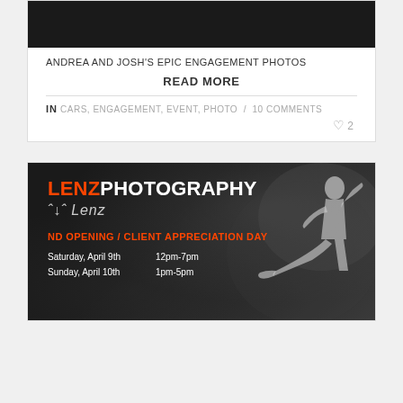[Figure (photo): Dark photograph strip at the top of the card, appears to show a camera or dark themed image]
ANDREA AND JOSH'S EPIC ENGAGEMENT PHOTOS
READ MORE
IN CARS, ENGAGEMENT, EVENT, PHOTO / 10 COMMENTS
♡ 2
[Figure (photo): LENZ PHOTOGRAPHY banner ad. Black and white photo of a fighting/martial arts athlete performing a kick. Text overlay includes: LENZ PHOTOGRAPHY logo (LENZ in orange, PHOTOGRAPHY in white), cursive signature, GRAND OPENING / CLIENT APPRECIATION DAY in orange, Saturday April 9th 12pm-7pm, Sunday April 10th 1pm-5pm]